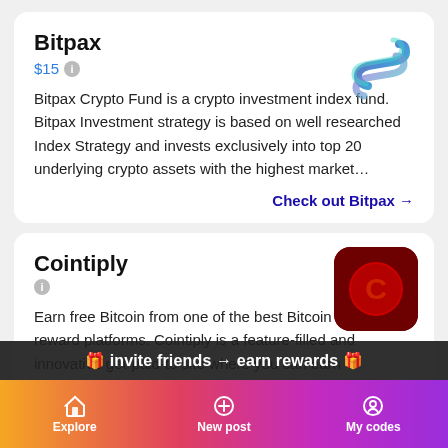Bitpax
$15
Bitpax Crypto Fund is a crypto investment index fund. Bitpax Investment strategy is based on well researched Index Strategy and invests exclusively into top 20 underlying crypto assets with the highest market…
Check out Bitpax →
[Figure (logo): Bitpax logo: stylized S-shaped symbol in blue-purple gradient]
Cointiply
Earn free Bitcoin from one of the best Bitcoin faucets & reward platforms. Cointiply is a feature-filled and innovative get-paid-to site where you can earn cryptocurrency for…
[Figure (logo): Cointiply logo: dark red square with rounded corners, red circle with letter C in center]
🎁 invite friends → earn rewards 🎁
Explore   New post   My codes